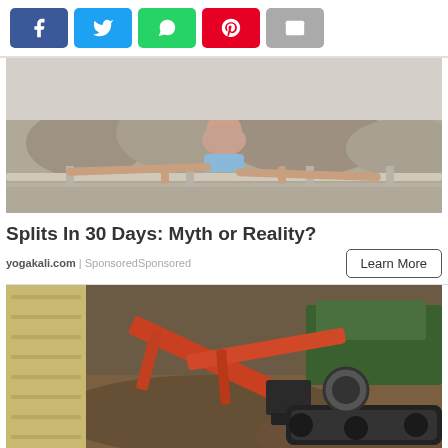[Figure (other): Social share buttons: Facebook (blue), Twitter (light blue), WhatsApp (green), Pinterest (red), Email (grey)]
[Figure (photo): Person doing splits on a railing with rocky badlands landscape in background]
Splits In 30 Days: Myth or Reality?
yogakali.com | SponsoredSponsored
[Figure (photo): Mini excavator digging near a building foundation in mud]